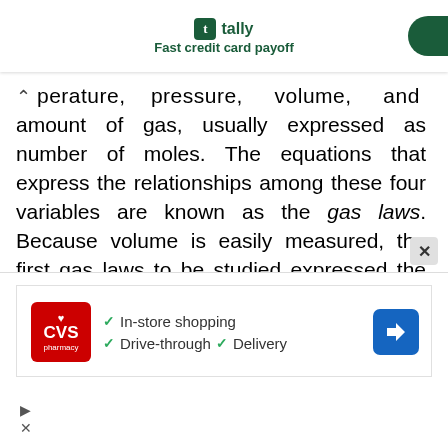tally Fast credit card payoff
perature, pressure, volume, and amount of gas, usually expressed as number of moles. The equations that express the relationships among these four variables are known as the gas laws. Because volume is easily measured, the first gas laws to be studied expressed the effect of one of the variables on volume, with the remaining two variables held constant.
[Figure (other): CVS Pharmacy advertisement showing In-store shopping, Drive-through, and Delivery services with CVS logo and navigation arrow icon]